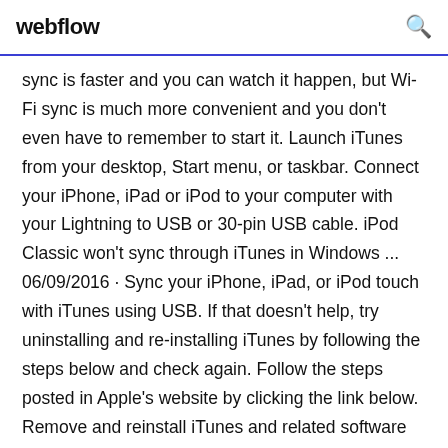webflow
sync is faster and you can watch it happen, but Wi-Fi sync is much more convenient and you don't even have to remember to start it. Launch iTunes from your desktop, Start menu, or taskbar. Connect your iPhone, iPad or iPod to your computer with your Lightning to USB or 30-pin USB cable. iPod Classic won't sync through iTunes in Windows ... 06/09/2016 · Sync your iPhone, iPad, or iPod touch with iTunes using USB. If that doesn't help, try uninstalling and re-installing iTunes by following the steps below and check again. Follow the steps posted in Apple's website by clicking the link below. Remove and reinstall iTunes and related software components for Windows 7 and later